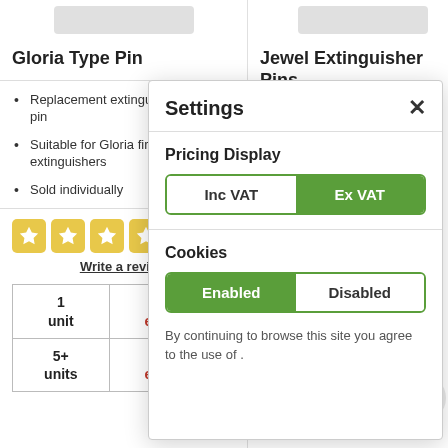[Figure (other): Product image placeholder – left column (Gloria Type Pin)]
Gloria Type Pin
Replacement extinguisher safety pin
Suitable for Gloria fire extinguishers
Sold individually
[Figure (other): 5-star rating widget with golden star icons]
Write a review
| Qty | Price |
| --- | --- |
| 1
unit | £0.50
ex VAT |
| 5+
units | £0.45
ex VAT |
[Figure (other): Product image placeholder – right column (Jewel Extinguisher Pins)]
Jewel Extinguisher Pins
Settings
Pricing Display
Inc VAT / Ex VAT toggle
Cookies
Enabled / Disabled toggle
By continuing to browse this site you agree to the use of .